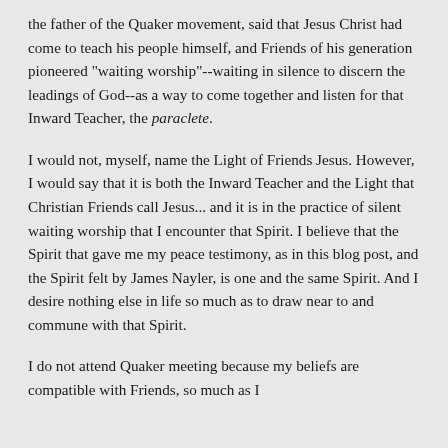the father of the Quaker movement, said that Jesus Christ had come to teach his people himself, and Friends of his generation pioneered "waiting worship"--waiting in silence to discern the leadings of God--as a way to come together and listen for that Inward Teacher, the paraclete.
I would not, myself, name the Light of Friends Jesus. However, I would say that it is both the Inward Teacher and the Light that Christian Friends call Jesus... and it is in the practice of silent waiting worship that I encounter that Spirit. I believe that the Spirit that gave me my peace testimony, as in this blog post, and the Spirit felt by James Nayler, is one and the same Spirit. And I desire nothing else in life so much as to draw near to and commune with that Spirit.
I do not attend Quaker meeting because my beliefs are compatible with Friends, so much as I